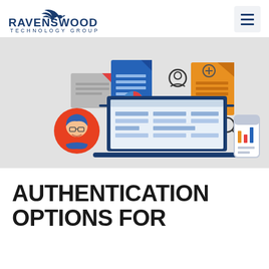[Figure (logo): Ravenswood Technology Group logo with stylized bird/wing icon above the company name]
[Figure (illustration): Technology/dashboard illustration showing a laptop with a user profile icon, documents, search icons, and a mobile phone with charts on a light gray background]
AUTHENTICATION OPTIONS FOR